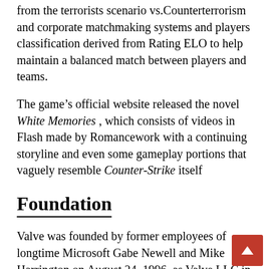from the terrorists scenario vs.Counterterrorism and corporate matchmaking systems and players classification derived from Rating ELO to help maintain a balanced match between players and teams.
The game's official website released the novel White Memories , which consists of videos in Flash made by Romancework with a continuing storyline and even some gameplay portions that vaguely resemble Counter-Strike itself
Foundation
Valve was founded by former employees of longtime Microsoft Gabe Newell and Mike Harrington on August 24, 1996  as Valve LLC in Kirkland, Washington in Seattle Eastside. After